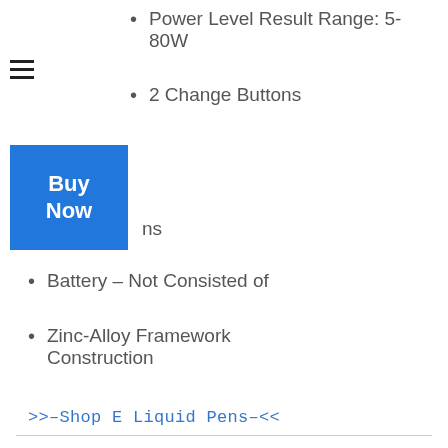Power Level Result Range: 5-80W
2 Change Buttons
ns
Battery – Not Consisted of
Zinc-Alloy Framework Construction
>>–Shop E Liquid Pens–<<
Kandypens Crystal – Finest Dab Pens
Item Information As Well As Benefits